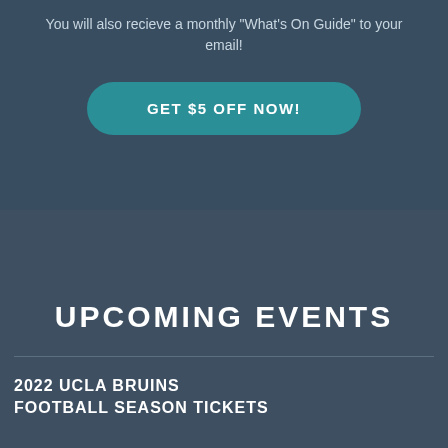You will also recieve a monthly "What's On Guide" to your email!
GET $5 OFF NOW!
UPCOMING EVENTS
2022 UCLA BRUINS
FOOTBALL SEASON TICKETS